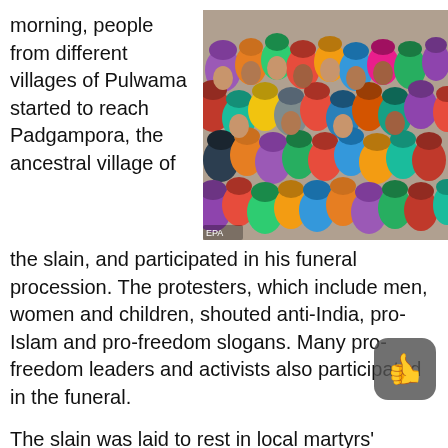morning, people from different villages of Pulwama started to reach Padgampora, the ancestral village of
[Figure (photo): A large crowd of women wearing colorful headscarves/hijabs gathered together, appearing to be at a protest or public gathering.]
the slain, and participated in his funeral procession. The protesters, which include men, women and children, shouted anti-India, pro-Islam and pro-freedom slogans. Many pro-freedom leaders and activists also participated in the funeral.
The slain was laid to rest in local martyrs' graveyard amid sobs and tears. The mourners were shouting slogans in favour of militant groups including Hizbul Mujahideen, Lashkar-e-Toiba and Jaish-e-Mohammad, eyewitnesses said.
The slain, Bashir Ahmad Bhat, was killed after BSF tr... according to locals, fired upon protesters who were...